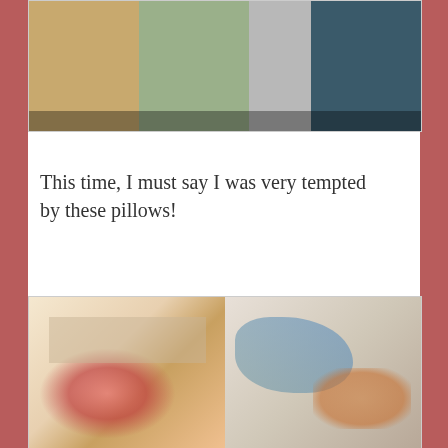[Figure (photo): Photo of folded linens and glassware on shelves — yellow, green-grey folded textiles on left, glass items in center, dark teal items on right]
This time, I must say I was very tempted by these pillows!
[Figure (photo): Two photos of decorative pillows side by side — left pillow has floral rose pattern with vintage French text, right pillow shows whimsical illustrated character print]